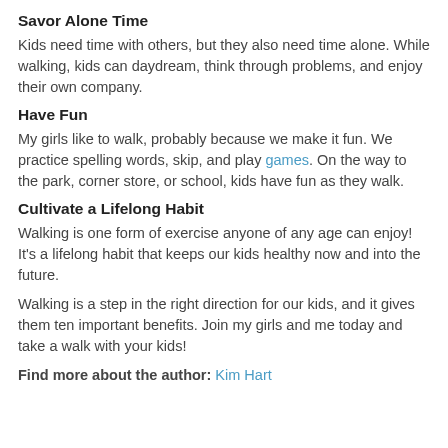Savor Alone Time
Kids need time with others, but they also need time alone. While walking, kids can daydream, think through problems, and enjoy their own company.
Have Fun
My girls like to walk, probably because we make it fun. We practice spelling words, skip, and play games. On the way to the park, corner store, or school, kids have fun as they walk.
Cultivate a Lifelong Habit
Walking is one form of exercise anyone of any age can enjoy! It's a lifelong habit that keeps our kids healthy now and into the future.
Walking is a step in the right direction for our kids, and it gives them ten important benefits. Join my girls and me today and take a walk with your kids!
Find more about the author: Kim Hart